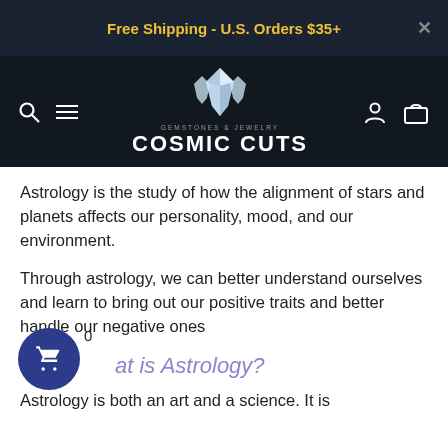Free Shipping - U.S. Orders $35+
[Figure (logo): Cosmic Cuts gemstones and jewelry logo with crystal graphic, search icon, hamburger menu, user icon, and bag icon navigation bar]
Astrology is the study of how the alignment of stars and planets affects our personality, mood, and our environment.
Through astrology, we can better understand ourselves and learn to bring out our positive traits and better handle our negative ones
at is Astrology?
Astrology is both an art and a science. It is